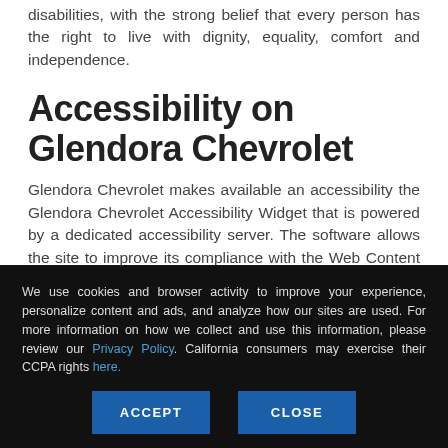disabilities, with the strong belief that every person has the right to live with dignity, equality, comfort and independence.
Accessibility on Glendora Chevrolet
Glendora Chevrolet makes available an accessibility the Glendora Chevrolet Accessibility Widget that is powered by a dedicated accessibility server. The software allows the site to improve its compliance with the Web Content Accessibility Guidelines (WCAG 2.1).
We use cookies and browser activity to improve your experience, personalize content and ads, and analyze how our sites are used. For more information on how we collect and use this information, please review our Privacy Policy. California consumers may exercise their CCPA rights here.
ACCEPT
CLOSE